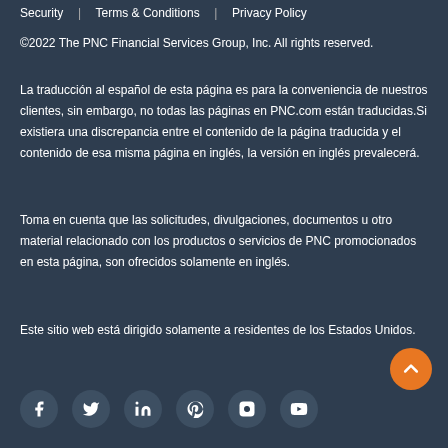Security  |  Terms & Conditions  |  Privacy Policy
©2022 The PNC Financial Services Group, Inc. All rights reserved.
La traducción al español de esta página es para la conveniencia de nuestros clientes, sin embargo, no todas las páginas en PNC.com están traducidas.Si existiera una discrepancia entre el contenido de la página traducida y el contenido de esa misma página en inglés, la versión en inglés prevalecerá.
Toma en cuenta que las solicitudes, divulgaciones, documentos u otro material relacionado con los productos o servicios de PNC promocionados en esta página, son ofrecidos solamente en inglés.
Este sitio web está dirigido solamente a residentes de los Estados Unidos.
[Figure (other): Social media icons: Facebook, Twitter, LinkedIn, Pinterest, Instagram, YouTube]